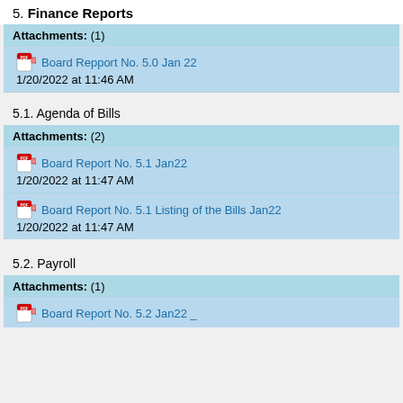5. Finance Reports
Attachments: (1)
Board Repport No. 5.0 Jan 22
1/20/2022 at 11:46 AM
5.1. Agenda of Bills
Attachments: (2)
Board Report No. 5.1 Jan22
1/20/2022 at 11:47 AM
Board Report No. 5.1 Listing of the Bills Jan22
1/20/2022 at 11:47 AM
5.2. Payroll
Attachments: (1)
Board Report No. 5.2 Jan22 _